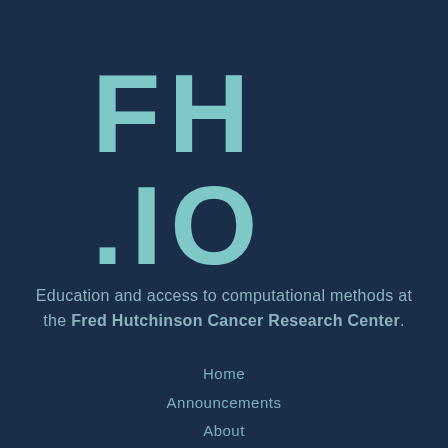[Figure (logo): FH.IO logo in large bold teal letters on dark navy background]
Education and access to computational methods at the Fred Hutchinson Cancer Research Center.
Home
Announcements
About
Resources
Software